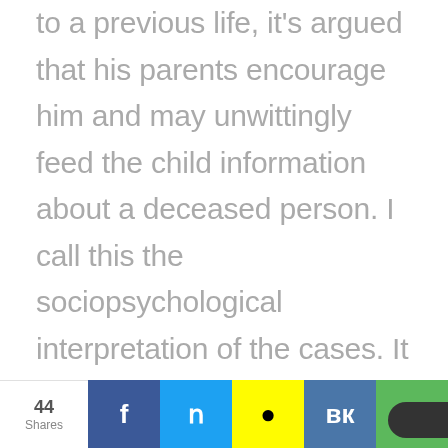to a previous life, it's argued that his parents encourage him and may unwittingly feed the child information about a deceased person. I call this the sociopsychological interpretation of the cases. It is said that despite all my efforts, I have not eliminated the possibility that the subject of a case learned everything he knew through normal channels.
44 Shares | Share buttons: Facebook, Twitter, Snapchat, VK, Share